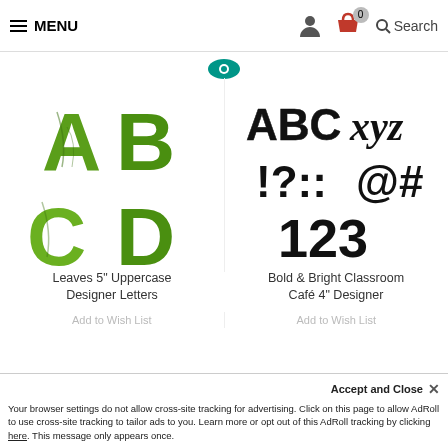≡ MENU   [person icon] [basket icon] 0   Search
[Figure (illustration): Leaves 5 inch Uppercase Designer Letters - four green leaf-textured letters A, B, C, D]
[Figure (illustration): Bold & Bright Classroom Café 4 inch Designer letters - black bold letters ABCxyz !?::@# 123]
Leaves 5" Uppercase Designer Letters
Bold & Bright Classroom Café 4" Designer
Your browser settings do not allow cross-site tracking for advertising. Click on this page to allow AdRoll to use cross-site tracking to tailor ads to you. Learn more or opt out of this AdRoll tracking by clicking here. This message only appears once.